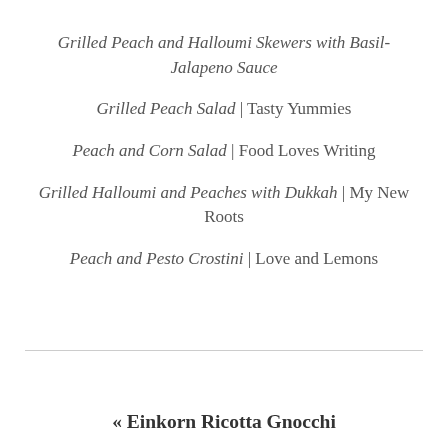Grilled Peach and Halloumi Skewers with Basil-Jalapeno Sauce
Grilled Peach Salad | Tasty Yummies
Peach and Corn Salad | Food Loves Writing
Grilled Halloumi and Peaches with Dukkah | My New Roots
Peach and Pesto Crostini | Love and Lemons
« Einkorn Ricotta Gnocchi with Roasted Tomato Sauce